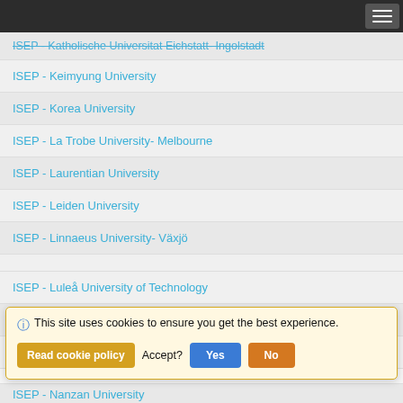ISEP - Katholische Universitat Eichstatt- Ingolstadt
ISEP - Keimyung University
ISEP - Korea University
ISEP - La Trobe University- Melbourne
ISEP - Laurentian University
ISEP - Leiden University
ISEP - Linnaeus University- Växjö
ISEP - Luleå University of Technology
ISEP - Mälardalen University
ISEP - Masaryk University
This site uses cookies to ensure you get the best experience.
ISEP - Nanzan University